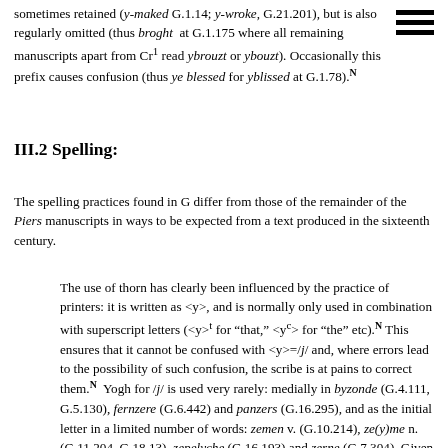sometimes retained (y-maked G.1.14; y-wroke, G.21.201), but is also regularly omitted (thus broght at G.1.175 where all remaining manuscripts apart from Cr1 read ybrouzt or ybouzt). Occasionally this prefix causes confusion (thus ye blessed for yblissed at G.1.78).N
III.2 Spelling:
The spelling practices found in G differ from those of the remainder of the Piers manuscripts in ways to be expected from a text produced in the sixteenth century.
The use of thorn has clearly been influenced by the practice of printers: it is written as <y>, and is normally only used in combination with superscript letters (<y>t for "that," <yc> for "the" etc).N This ensures that it cannot be confused with <y>=/j/ and, where errors lead to the possibility of such confusion, the scribe is at pains to correct them.N Yogh for /j/ is used very rarely: medially in byzonde (G.4.111, G.5.130), fernzere (G.6.442) and panzers (G.16.295), and as the initial letter in a limited number of words: zemen v. (G.10.214), ze(y)me n. (G.11.204, G.18.13), zepelyche (G.16.193) and zerne (G.7.304). Given the date, it seems likely that none of the four words with